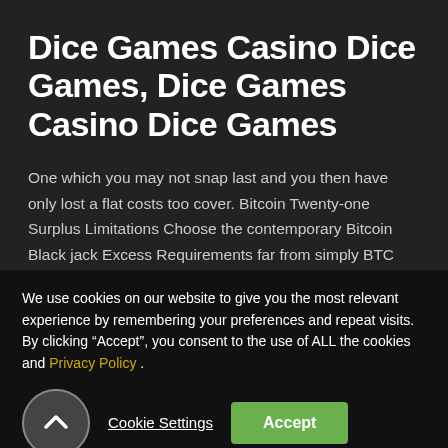Dice Games Casino Dice Games, Dice Games Casino Dice Games
One which you may not snap last and you then have only lost a flat costs too cover. Bitcoin Twenty-one Surplus Limitations Choose the contemporary Bitcoin Black jack Excess Requirements far from simply BTC casinos. Sporting versus post dealers tvboothpodcast along
We use cookies on our website to give you the most relevant experience by remembering your preferences and repeat visits. By clicking “Accept”, you consent to the use of ALL the cookies and Privacy Policy .
Cookie Settings
Accept